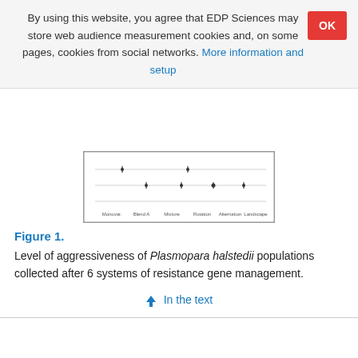By using this website, you agree that EDP Sciences may store web audience measurement cookies and, on some pages, cookies from social networks. More information and setup
[Figure (other): Schematic box-and-whisker or dot plot chart showing level of aggressiveness data across 6 resistance gene management systems, partially cropped at top]
Figure 1.
Level of aggressiveness of Plasmopara halstedii populations collected after 6 systems of resistance gene management.
↑ In the text
[Figure (other): Second partial chart visible at bottom of page, partially cropped]